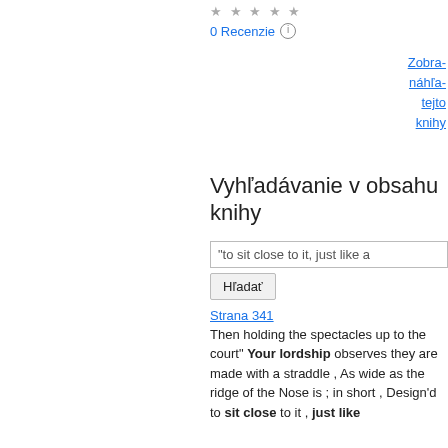★★★★★
0 Recenzie ℹ
Zobra- náhľa- tejto knihy
Vyhľadávanie v obsahu knihy
"to sit close to it, just like a
Hľadať
Strana 341
Then holding the spectacles up to the court" Your lordship observes they are made with a straddle , As wide as the ridge of the Nose is ; in short , Design'd to sit close to it , just like